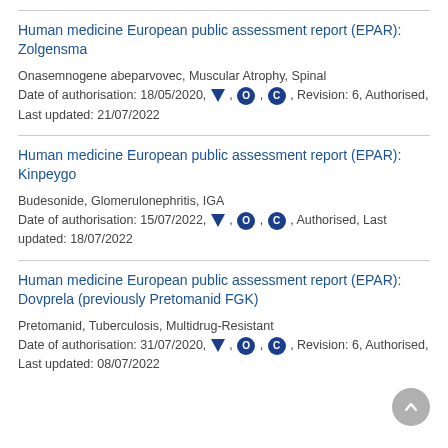Human medicine European public assessment report (EPAR): Zolgensma
Onasemnogene abeparvovec, Muscular Atrophy, Spinal
Date of authorisation: 18/05/2020, ▼ , O , C , Revision: 6, Authorised, Last updated: 21/07/2022
Human medicine European public assessment report (EPAR): Kinpeygo
Budesonide, Glomerulonephritis, IGA
Date of authorisation: 15/07/2022, ▼ , O , C , Authorised, Last updated: 18/07/2022
Human medicine European public assessment report (EPAR): Dovprela (previously Pretomanid FGK)
Pretomanid, Tuberculosis, Multidrug-Resistant
Date of authorisation: 31/07/2020, ▼ , O , C , Revision: 6, Authorised, Last updated: 08/07/2022